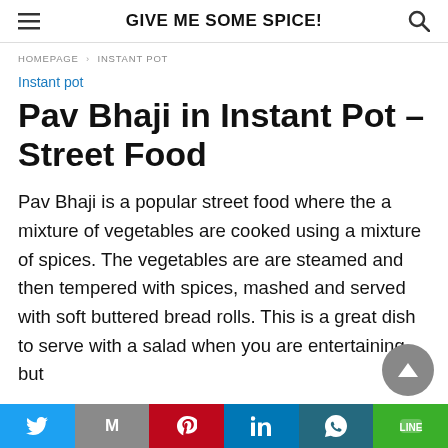GIVE ME SOME SPICE!
HOMEPAGE > INSTANT POT
Instant pot
Pav Bhaji in Instant Pot – Street Food
Pav Bhaji is a popular street food where the a mixture of vegetables are cooked using a mixture of spices. The vegetables are are steamed and then tempered with spices, mashed and served with soft buttered bread rolls. This is a great dish to serve with a salad when you are entertaining but